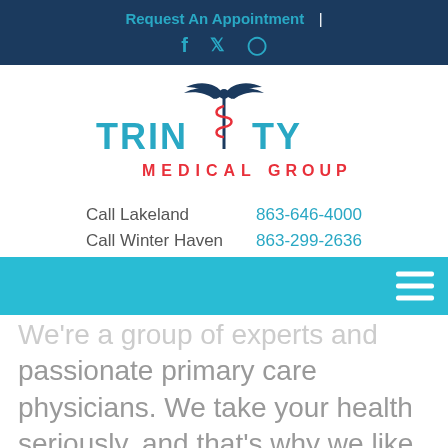Request An Appointment | f t ig
[Figure (logo): Trinity Medical Group logo with caduceus symbol between TRIN and TY in dark navy/red/teal colors, MEDICAL GROUP below]
Call Lakeland   863-646-4000
Call Winter Haven   863-299-2636
We're a group of experts and passionate primary care physicians. We take your health seriously, and that's why we like to build long-lasting and beneficial relationships with our